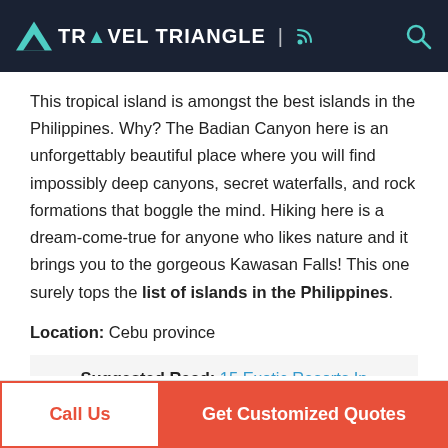TRAVEL TRIANGLE
This tropical island is amongst the best islands in the Philippines. Why? The Badian Canyon here is an unforgettably beautiful place where you will find impossibly deep canyons, secret waterfalls, and rock formations that boggle the mind. Hiking here is a dream-come-true for anyone who likes nature and it brings you to the gorgeous Kawasan Falls! This one surely tops the list of islands in the Philippines.
Location: Cebu province
Suggested Read: 15 Exotic Resorts In Philippines For A Spectacular Beach Vacation